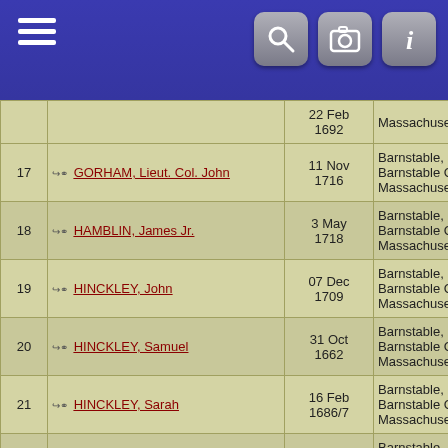[Figure (screenshot): Mobile app navigation bar with hamburger menu icon on left and three icon buttons (search, camera, info) on right, dark blue background]
| # | Name | Date | Place | ID |
| --- | --- | --- | --- | --- |
|  |  | 22 Feb 1692 | Massachusetts |  |
| 17 | GORHAM, Lieut. Col. John | 11 Nov 1716 | Barnstable, Barnstable Co., Massachusetts | I25752 |
| 18 | HAMBLIN, James Jr. | 3 May 1718 | Barnstable, Barnstable Co., Massachusetts | I102882 |
| 19 | HINCKLEY, John | 07 Dec 1709 | Barnstable, Barnstable Co., Massachusetts | I28864 |
| 20 | HINCKLEY, Samuel | 31 Oct 1662 | Barnstable, Barnstable Co., Massachusetts | I28880 |
| 21 | HINCKLEY, Sarah | 16 Feb 1686/7 | Barnstable, Barnstable Co., Massachusetts | I28886 |
| 22 | HINCKLEY, Gov. Thomas | 1705 | Barnstable, Barnstable Co., Massachusetts | I28892 |
| 23 | HOWLAND, John Joseph | Aft 18 May 1699 | Barnstable, Barnstable Co., Massachusetts | I30044 |
|  |  | 08 Apr | Barnstable, |  |